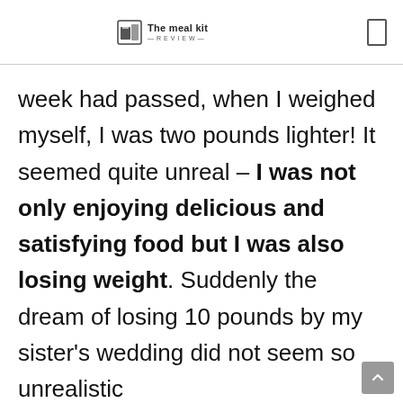The meal kit REVIEW
week had passed, when I weighed myself, I was two pounds lighter! It seemed quite unreal – I was not only enjoying delicious and satisfying food but I was also losing weight. Suddenly the dream of losing 10 pounds by my sister's wedding did not seem so unrealistic